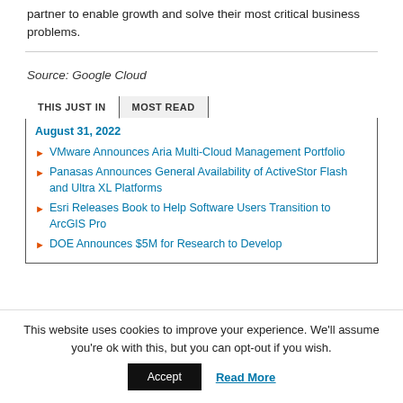partner to enable growth and solve their most critical business problems.
Source: Google Cloud
THIS JUST IN | MOST READ
August 31, 2022
VMware Announces Aria Multi-Cloud Management Portfolio
Panasas Announces General Availability of ActiveStor Flash and Ultra XL Platforms
Esri Releases Book to Help Software Users Transition to ArcGIS Pro
DOE Announces $5M for Research to Develop
This website uses cookies to improve your experience. We'll assume you're ok with this, but you can opt-out if you wish.
Accept | Read More